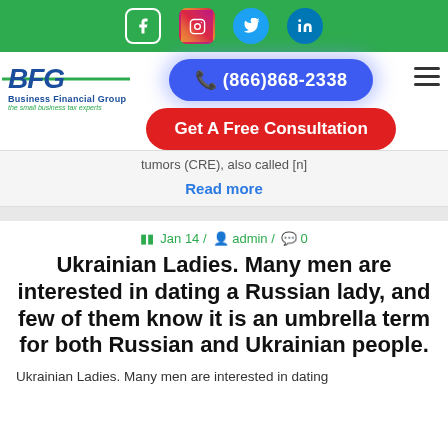[Figure (other): Green navigation bar with Facebook, Instagram, Twitter, and LinkedIn social media icons]
[Figure (logo): BFG Business Financial Group logo with green stripe through letters and tagline 'the small business tax experts']
[Figure (other): Blue rounded button with phone icon and number (866)868-2338 with blue glow effect]
[Figure (other): Red rounded button with text 'Get A Free Consultation']
tumors (CRE), also called [n]
Read more
Jan 14 / admin / 0
Ukrainian Ladies. Many men are interested in dating a Russian lady, and few of them know it is an umbrella term for both Russian and Ukrainian people.
Ukrainian Ladies. Many men are interested in dating